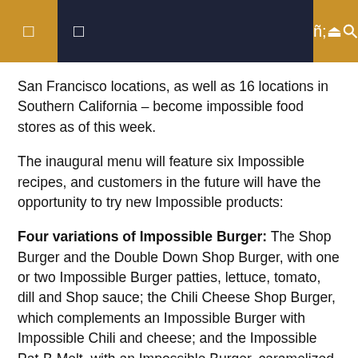[navigation bar with hamburger menu and search icon]
San Francisco locations, as well as 16 locations in Southern California – become impossible food stores as of this week.
The inaugural menu will feature six Impossible recipes, and customers in the future will have the opportunity to try new Impossible products:
Four variations of Impossible Burger: The Shop Burger and the Double Down Shop Burger, with one or two Impossible Burger patties, lettuce, tomato, dill and Shop sauce; the Chili Cheese Shop Burger, which complements an Impossible Burger with Impossible Chili and cheese; and the Impossible Pat-B Melt, with an Impossible Burger, caramelized cola onions and a vegetable-based cheese sauce on toasted sourdough.
Impossible Chicken Nuggets: The sticky sesame sauce coats